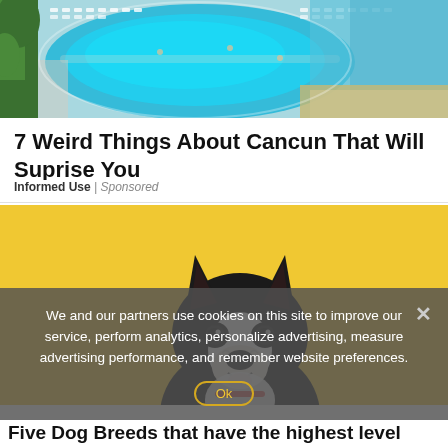[Figure (photo): Aerial view of a resort with a curved swimming pool surrounded by lounge chairs, green palm trees on the left, and a beach/ocean on the right with turquoise water.]
7 Weird Things About Cancun That Will Suprise You
Informed Use | Sponsored
[Figure (photo): A black and white Boston Terrier or French Bulldog photographed against a bright yellow background, facing right with mouth slightly open.]
We and our partners use cookies on this site to improve our service, perform analytics, personalize advertising, measure advertising performance, and remember website preferences.
Ok
Five Dog Breeds that have the highest level